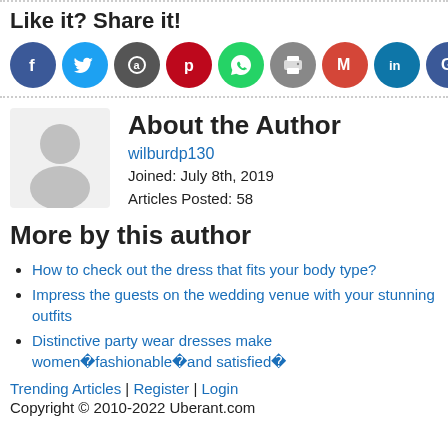Like it? Share it!
[Figure (infographic): Row of social media share buttons as colored circles: Facebook (dark blue, f), Twitter (light blue, bird), another (dark gray, icon), Pinterest (red, p), WhatsApp (green, phone), Print (gray, printer), Gmail (red, M), LinkedIn (teal, in), Google (blue, G), Plus (orange-red, +)]
[Figure (illustration): Generic user avatar silhouette (gray circle head and torso on light gray background)]
About the Author
wilburdp130
Joined: July 8th, 2019
Articles Posted: 58
More by this author
How to check out the dress that fits your body type?
Impress the guests on the wedding venue with your stunning outfits
Distinctive party wear dresses make women�fashionable�and satisfied�
Trending Articles | Register | Login
Copyright © 2010-2022 Uberant.com